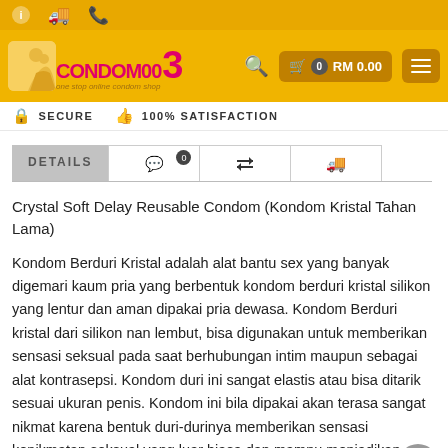CONDOM003 – one stop online condom shop
[Figure (logo): CONDOM003 logo with pink text and couple illustration on yellow background]
SECURE   100% SATISFACTION
DETAILS  [comment icon 0]  [compare icon]  [shipping icon]
Crystal Soft Delay Reusable Condom (Kondom Kristal Tahan Lama)
Kondom Berduri Kristal adalah alat bantu sex yang banyak digemari kaum pria yang berbentuk kondom berduri kristal silikon yang lentur dan aman dipakai pria dewasa. Kondom Berduri kristal dari silikon nan lembut, bisa digunakan untuk memberikan sensasi seksual pada saat berhubungan intim maupun sebagai alat kontrasepsi. Kondom duri ini sangat elastis atau bisa ditarik sesuai ukuran penis. Kondom ini bila dipakai akan terasa sangat nikmat karena bentuk duri-durinya memberikan sensasi kenikmatan seksual yang luar biasa dan mampu menjadikan pasangan anda